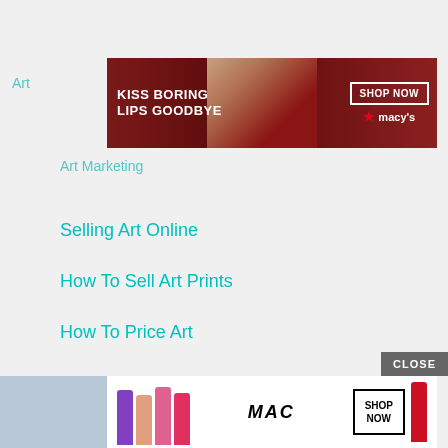Art
[Figure (photo): Macy's lipstick advertisement banner: 'KISS BORING LIPS GOODBYE' with SHOP NOW button and Macy's star logo, woman with red lips]
Art Marketing
Selling Art Online
How To Sell Art Prints
How To Price Art
Best Oil Painting Supplies
Best Acrylic Paint Supplies
Best Drawing Pencils
CLOSE
[Figure (photo): MAC cosmetics advertisement banner with lipsticks and SHOP NOW button]